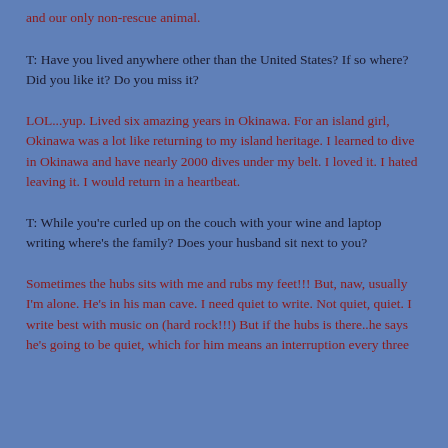and our only non-rescue animal.
T: Have you lived anywhere other than the United States? If so where? Did you like it? Do you miss it?
LOL...yup. Lived six amazing years in Okinawa. For an island girl, Okinawa was a lot like returning to my island heritage. I learned to dive in Okinawa and have nearly 2000 dives under my belt. I loved it. I hated leaving it. I would return in a heartbeat.
T: While you're curled up on the couch with your wine and laptop writing where's the family? Does your husband sit next to you?
Sometimes the hubs sits with me and rubs my feet!!! But, naw, usually I'm alone. He's in his man cave. I need quiet to write. Not quiet, quiet. I write best with music on (hard rock!!!) But if the hubs is there..he says he's going to be quiet, which for him means an interruption every three